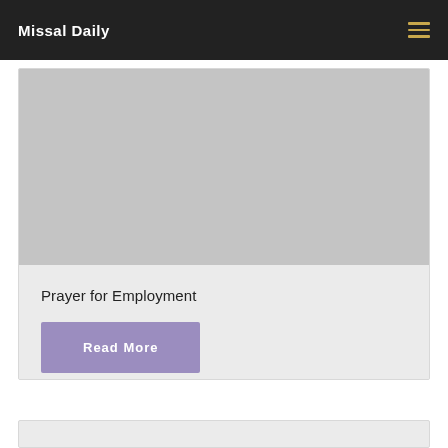Missal Daily
[Figure (photo): Gray placeholder image area for article thumbnail]
Prayer for Employment
Read More